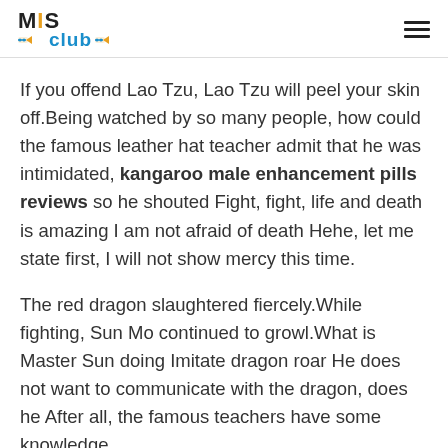MIS Club
If you offend Lao Tzu, Lao Tzu will peel your skin off.Being watched by so many people, how could the famous leather hat teacher admit that he was intimidated, kangaroo male enhancement pills reviews so he shouted Fight, fight, life and death is amazing I am not afraid of death Hehe, let me state first, I will not show mercy this time.
The red dragon slaughtered fiercely.While fighting, Sun Mo continued to growl.What is Master Sun doing Imitate dragon roar He does not want to communicate with the dragon, does he After all, the famous teachers have some knowledge.